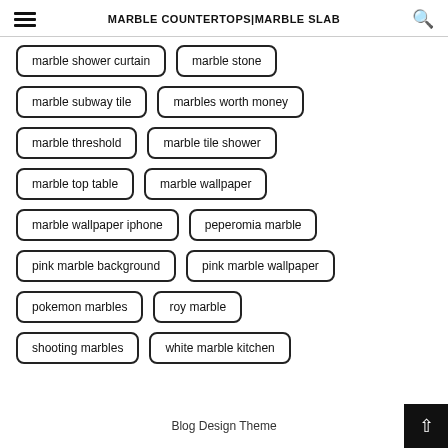MARBLE COUNTERTOPS|MARBLE SLAB
marble shower curtain
marble stone
marble subway tile
marbles worth money
marble threshold
marble tile shower
marble top table
marble wallpaper
marble wallpaper iphone
peperomia marble
pink marble background
pink marble wallpaper
pokemon marbles
roy marble
shooting marbles
white marble kitchen
Blog Design Theme